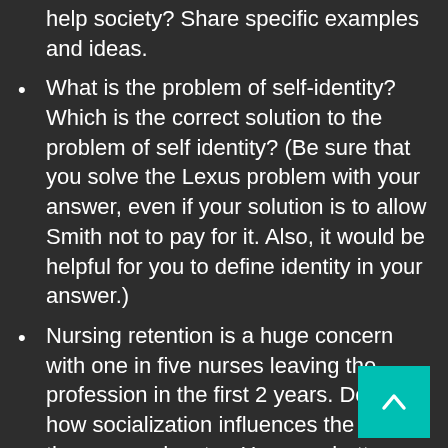impact of outsourcing by AI and EVs help society? Share specific examples and ideas.
What is the problem of self-identity? Which is the correct solution to the problem of self identity? (Be sure that you solve the Lexus problem with your answer, even if your solution is to allow Smith not to pay for it. Also, it would be helpful for you to define identity in your answer.)
Nursing retention is a huge concern with one in five nurses leaving the profession in the first 2 years. Describe how socialization influences the role of the nurse educator. How can better socialization and integration of nurses into the profession be supported?